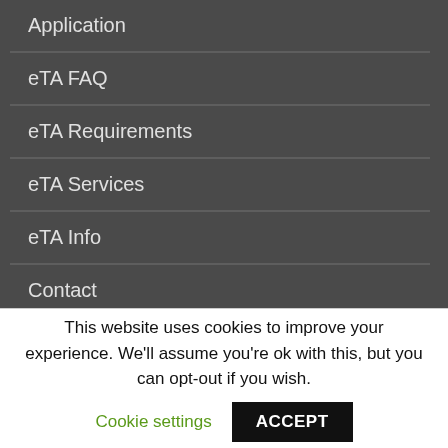Application
eTA FAQ
eTA Requirements
eTA Services
eTA Info
Contact
This website uses cookies to improve your experience. We'll assume you're ok with this, but you can opt-out if you wish.
Cookie settings
ACCEPT